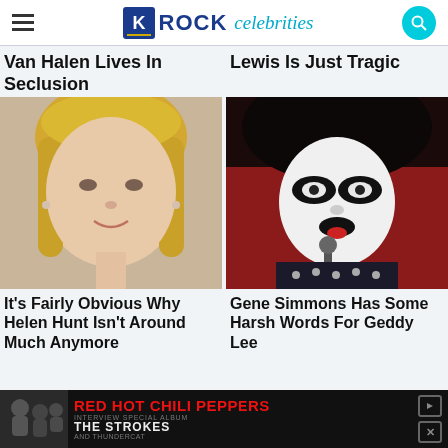ROCK celebrities
Van Halen Lives In Seclusion
Lewis Is Just Tragic
[Figure (photo): Close-up portrait of a blonde woman smiling (Helen Hunt)]
[Figure (photo): Gene Simmons in KISS face paint performing at a microphone]
It's Fairly Obvious Why Helen Hunt Isn't Around Much Anymore
Gene Simmons Has Some Harsh Words For Geddy Lee
[Figure (infographic): Advertisement banner for Red Hot Chili Peppers featuring The Strokes and Thundercat]